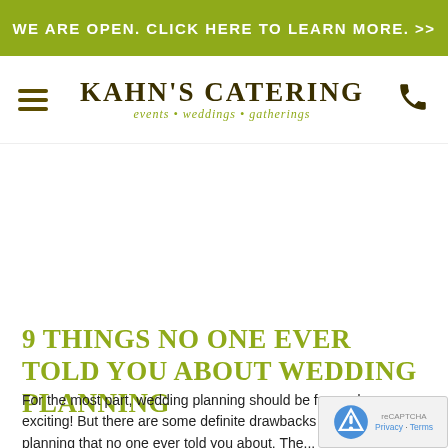WE ARE OPEN. CLICK HERE TO LEARN MORE. >>
KAHN'S CATERING
events • weddings • gatherings
[Figure (other): Blank hero image area (white space placeholder for a banner/photo)]
9 THINGS NO ONE EVER TOLD YOU ABOUT WEDDING PLANNING
For the most part, wedding planning should be fun and exciting! But there are some definite drawbacks to wedding planning that no one ever told you about. There is...